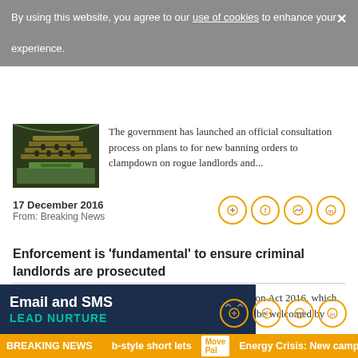By using this website, you agree to our use of cookies to enhance your experience.
The government has launched an official consultation process on plans to for new banning orders to clampdown on rogue landlords and...
17 December 2016
From: Breaking News
Enforcement is ‘fundamental’ to ensure criminal landlords are prosecuted
New measures under the Immigration Act 2016, which came into play yesterday, will only be welcomed by those operating in the...
Email and SMS
LEAD NURTURE
BREAKING NEWS   b-style short lets   Energy Crisis: New campa